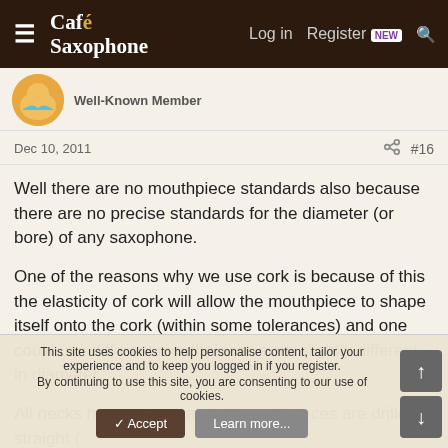Café Saxophone — Log in | Register | Search
Well-Known Member
Dec 10, 2011  #16
Well there are no mouthpiece standards also because there are no precise standards for the diameter (or bore) of any saxophone.
One of the reasons why we use cork is because of this the elasticity of cork will allow the mouthpiece to shape itself onto the cork (within some tolerances) and one could use different mouthpieces even slightly different in diameter.
All necks have a taper and all mouthpieces are drilled straight (
This site uses cookies to help personalise content, tailor your experience and to keep you logged in if you register.
By continuing to use this site, you are consenting to our use of cookies.